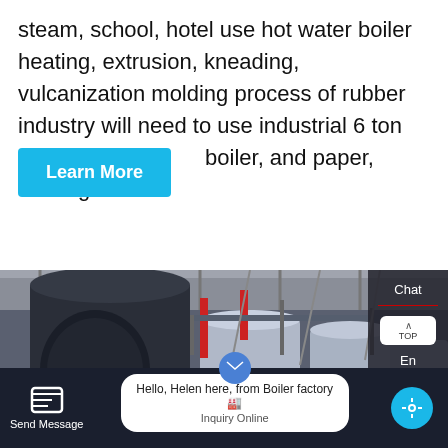steam, school, hotel use hot water boiler heating, extrusion, kneading, vulcanization molding process of rubber industry will need to use industrial 6 ton oil fired boiler, and paper, heating…
[Figure (screenshot): Industrial boiler facility interior showing large cylindrical steel boilers with piping and walkways in a factory setting]
[Figure (screenshot): WhatsApp contact button overlay on image with green 'Contact us now!' button]
[Figure (screenshot): Bottom navigation bar with Send Message, chat bubble saying 'Hello, Helen here, from Boiler factory', and Inquiry Online button]